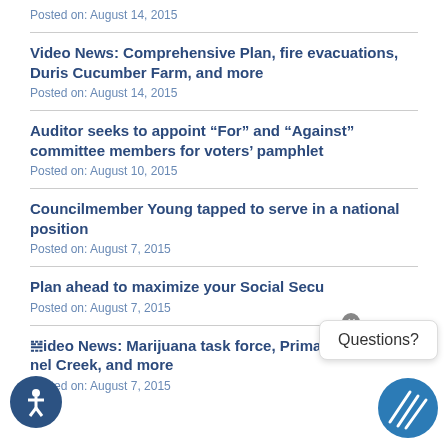Posted on: August 14, 2015
Video News: Comprehensive Plan, fire evacuations, Duris Cucumber Farm, and more
Posted on: August 14, 2015
Auditor seeks to appoint “For” and “Against” committee members for voters’ pamphlet
Posted on: August 10, 2015
Councilmember Young tapped to serve in a national position
Posted on: August 7, 2015
Plan ahead to maximize your Social Security
Posted on: August 7, 2015
Video News: Marijuana task force, Primary Election, nel Creek, and more
Posted on: August 7, 2015